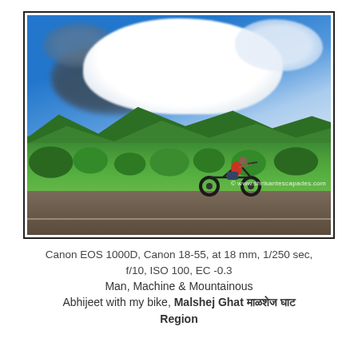[Figure (photo): A photograph of a motorcyclist (Abhijeet) on a road with a vast green landscape and dramatic cloudy sky in the background. Green hills and mountains are visible, with large white and dark clouds above. A watermark reading '© www.shrikantescapades.com' is visible at the bottom right. The photo is framed with a thin black border.]
Canon EOS 1000D, Canon 18-55, at 18 mm, 1/250 sec, f/10, ISO 100, EC -0.3
Man, Machine & Mountainous
Abhijeet with my bike, Malshej Ghat माळशेज घाट Region